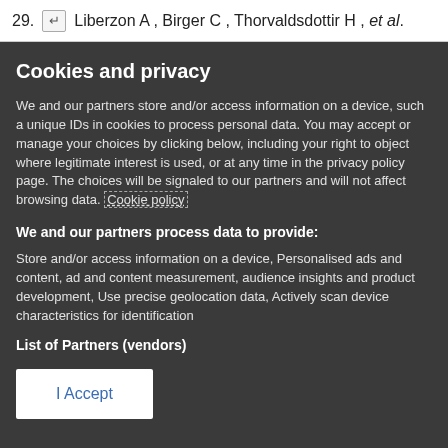29. [return icon] Liberzon A , Birger C , Thorvaldsdottir H , et al.
Cookies and privacy
We and our partners store and/or access information on a device, such a unique IDs in cookies to process personal data. You may accept or manage your choices by clicking below, including your right to object where legitimate interest is used, or at any time in the privacy policy page. These choices will be signaled to our partners and will not affect browsing data. Cookie policy
We and our partners process data to provide:
Store and/or access information on a device, Personalised ads and content, ad and content measurement, audience insights and product development, Use precise geolocation data, Actively scan device characteristics for identification
List of Partners (vendors)
I Accept